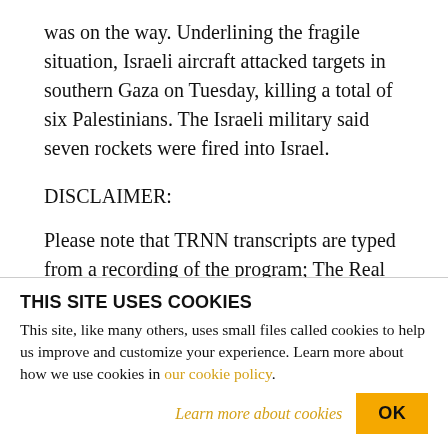was on the way. Underlining the fragile situation, Israeli aircraft attacked targets in southern Gaza on Tuesday, killing a total of six Palestinians. The Israeli military said seven rockets were fired into Israel.
DISCLAIMER:
Please note that TRNN transcripts are typed from a recording of the program; The Real News Network cannot guarantee their complete accuracy.
THIS SITE USES COOKIES
This site, like many others, uses small files called cookies to help us improve and customize your experience. Learn more about how we use cookies in our cookie policy.
Learn more about cookies
OK